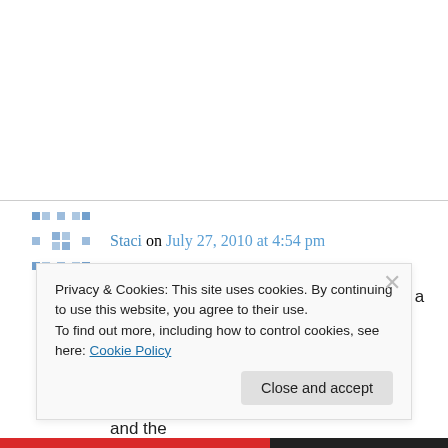Staci on July 27, 2010 at 4:54 pm
Oh my, you went “there”. Playing time is a very sticky issue in youth soccer. I am a former player now turned coach. To cut through a lot of the argument I think one must do like Positive Coaching Alliance, and the
Privacy & Cookies: This site uses cookies. By continuing to use this website, you agree to their use.
To find out more, including how to control cookies, see here: Cookie Policy
Close and accept